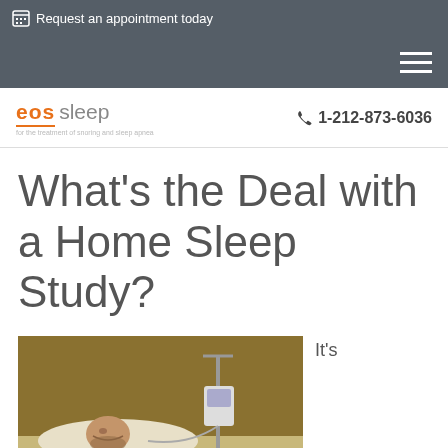Request an appointment today
[Figure (logo): eos sleep logo with orange underline and tagline: for the treatment of snoring and sleep apnea]
1-212-873-6036
What’s the Deal with a Home Sleep Study?
[Figure (photo): Patient lying in bed connected to sleep study equipment, with medical device/IV stand visible]
It’s